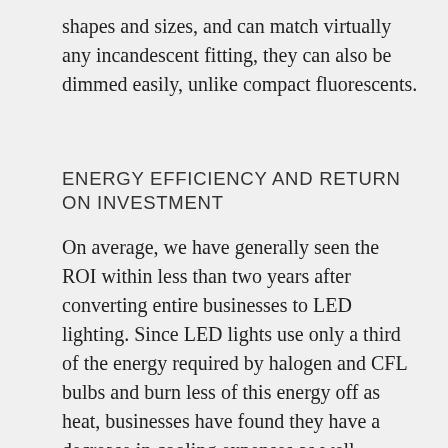shapes and sizes, and can match virtually any incandescent fitting, they can also be dimmed easily, unlike compact fluorescents.
ENERGY EFFICIENCY AND RETURN ON INVESTMENT
On average, we have generally seen the ROI within less than two years after converting entire businesses to LED lighting. Since LED lights use only a third of the energy required by halogen and CFL bulbs and burn less of this energy off as heat, businesses have found they have a decrease in cooling expenses as well. Another advantage to using LED lights is you can also use fewer LED lights, as the light created is brighter and more